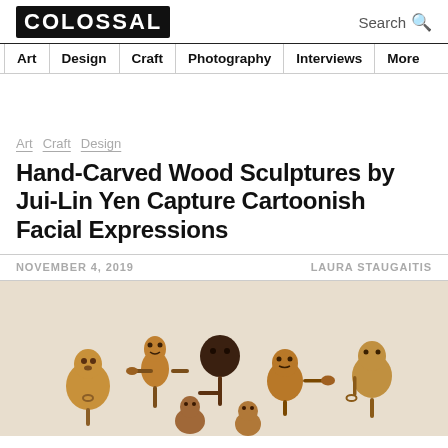colossal | Search
Art | Design | Craft | Photography | Interviews | More
Art  Craft  Design
Hand-Carved Wood Sculptures by Jui-Lin Yen Capture Cartoonish Facial Expressions
NOVEMBER 4, 2019    LAURA STAUGAITIS
[Figure (photo): Photograph of small hand-carved wooden sculptures with cartoonish faces arranged on a light background]